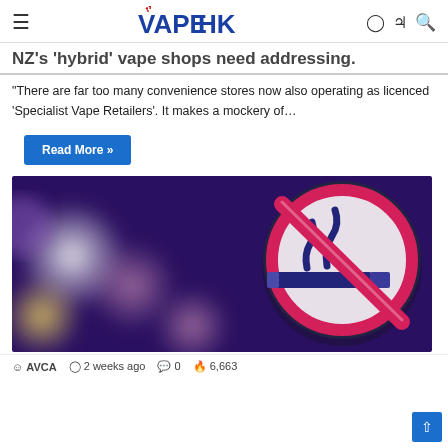VapeHK
NZ's 'hybrid' vape shops need addressing.
“There are far too many convenience stores now also operating as licenced ‘Specialist Vape Retailers’. It makes a mockery of…
Read More »
[Figure (photo): A no-smoking sign (circle with cigarette crossed out in red) against a blurred bokeh background of purple, white and yellow lights.]
AVCA  2 weeks ago  0  6,663